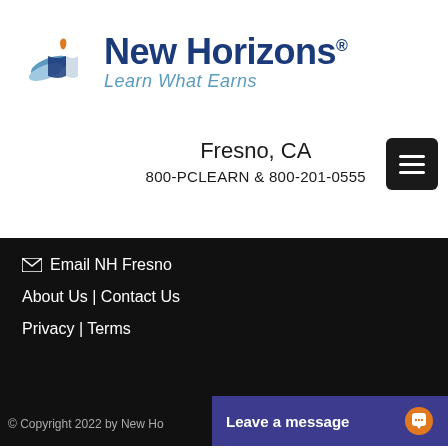[Figure (logo): New Horizons logo with stylized wing/book icon, text 'New Horizons' in dark blue and tagline 'Learn What Earns' in light blue italic]
Fresno, CA
800-PCLEARN  & 800-201-0555
✉ Email NH Fresno
About Us | Contact Us
Privacy | Terms
© Copyright 2022 by New Ho   Leave a message